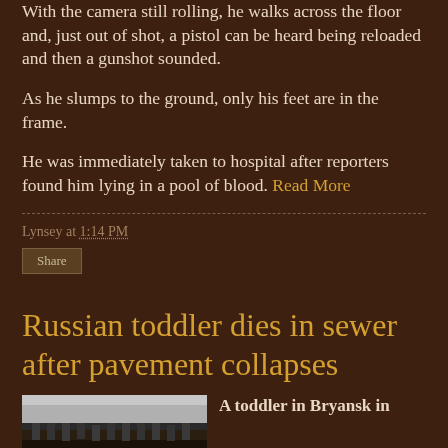With the camera still rolling, he walks across the floor and, just out of shot, a pistol can be heard being reloaded and then a gunshot sounded.
As he slumps to the ground, only his feet are in the frame.
He was immediately taken to hospital after reporters found him lying in a pool of blood. Read More
Lynsey at 1:14 PM
Share
Russian toddler dies in sewer after pavement collapses
A toddler in Bryansk in